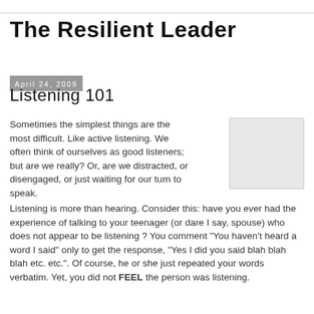The Resilient Leader
April 24, 2009
Listening 101
Sometimes the simplest things are the most difficult. Like active listening. We often think of ourselves as good listeners; but are we really? Or, are we distracted, or disengaged, or just waiting for our turn to speak.
[Figure (photo): Small placeholder image, light gray rectangle]
Listening is more than hearing. Consider this: have you ever had the experience of talking to your teenager (or dare I say, spouse) who does not appear to be listening ? You comment "You haven't heard a word I said" only to get the response, "Yes I did you said blah blah blah etc. etc.". Of course, he or she just repeated your words verbatim. Yet, you did not FEEL the person was listening.